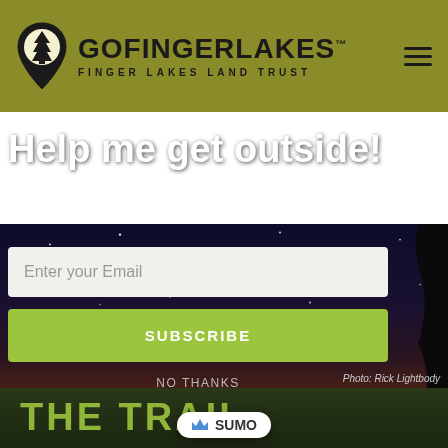[Figure (logo): GoFingerLakes logo with pine tree location pin icon and text 'GOFINGERLAKES™ FINGER LAKES LAND TRUST' on olive/yellow-green header bar with hamburger menu icon]
[Figure (photo): Night sky photograph showing stars and orange/red sunset glow reflecting on a calm lake, with dark tree silhouettes on the right side]
Help me get outside!
The best hikes, bikes, paddles and outdoor adventures delivered monthly to your inbox.
Enter your Email
SUBSCRIBE
NO THANKS
Photo: Rick Lightbody
THE TRAIL